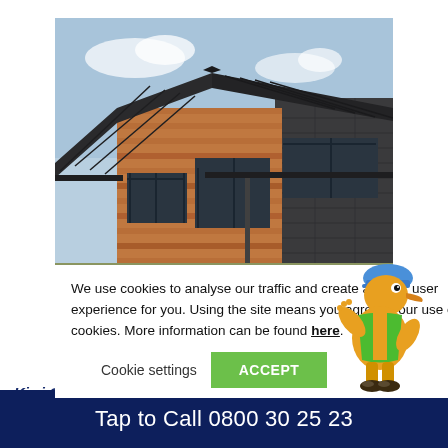[Figure (photo): Photo of a modern house with dark corrugated metal roof, timber cladding, dark brick walls, and dark-framed windows under a blue sky]
We use cookies to analyse our traffic and create a better user experience for you. Using the site means you agree to our use of cookies. More information can be found here.
Cookie settings  ACCEPT
[Figure (illustration): Cartoon kiwi bird mascot wearing a blue cap and green high-visibility vest, walking and waving]
Kiwi Gutter Protection is dedicated to
Tap to Call 0800 30 25 23